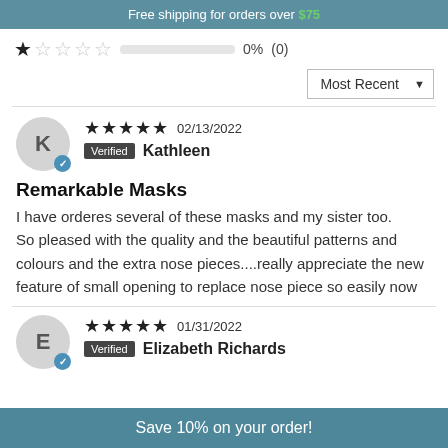Free shipping for orders over $75
★☆☆☆☆   0%  (0)
Most Recent ▼
★★★★★ 02/13/2022 Verified Kathleen
Remarkable Masks
I have orderes several of these masks and my sister too.
So pleased with the quality and the beautiful patterns and colours and the extra nose pieces....really appreciate the new feature of small opening to replace nose piece so easily now
★★★★★ 01/31/2022 Verified Elizabeth Richards
Save 10% on your order!